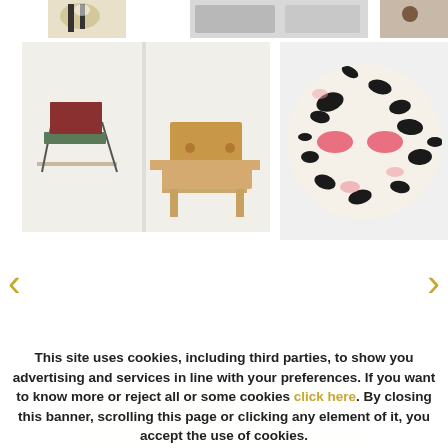[Figure (photo): Top partial images: bee/insect top-left, furniture top-center, brown object top-right]
[Figure (photo): Children's wooden chairs and desk displayed on white shelves]
[Figure (photo): Circular leopard-print rug with pink eyes pattern]
A small selection of the many pieces by Kinder Mode n to left-hand side corner. 1. Banner carpet by Cody Hoyt + Kinder Modern, Artists Collection. 2. Ado Play Chair, design Ko Verzuu, '50s, The Netherlands. 3. Bambi Chair
This site uses cookies, including third parties, to show you advertising and services in line with your preferences. If you want to know more or reject all or some cookies click here. By closing this banner, scrolling this page or clicking any element of it, you accept the use of cookies.
OK